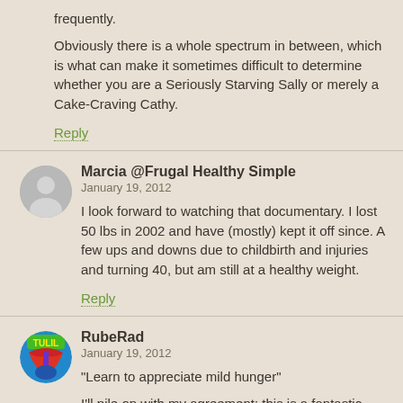frequently.
Obviously there is a whole spectrum in between, which is what can make it sometimes difficult to determine whether you are a Seriously Starving Sally or merely a Cake-Craving Cathy.
Reply
Marcia @Frugal Healthy Simple
January 19, 2012
I look forward to watching that documentary. I lost 50 lbs in 2002 and have (mostly) kept it off since. A few ups and downs due to childbirth and injuries and turning 40, but am still at a healthy weight.
Reply
RubeRad
January 19, 2012
"Learn to appreciate mild hunger"
I'll pile on with my agreement; this is a fantastic way to express a concept I've had for a while (but not strongly